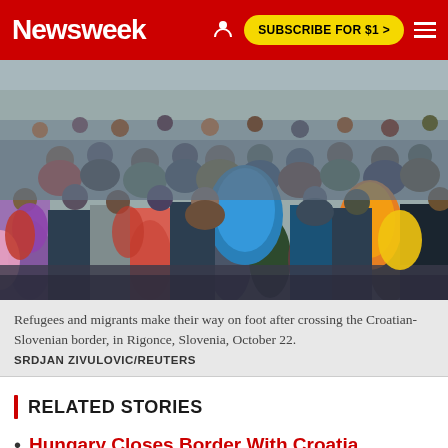Newsweek | SUBSCRIBE FOR $1 >
[Figure (photo): Large crowd of refugees and migrants walking on foot after crossing the Croatian-Slovenian border, seen from behind, carrying bags and backpacks, in Rigonce, Slovenia, October 22.]
Refugees and migrants make their way on foot after crossing the Croatian-Slovenian border, in Rigonce, Slovenia, October 22.
SRDJAN ZIVULOVIC/REUTERS
RELATED STORIES
Hungary Closes Border With Croatia, Forcing Migrants Refugees Elsewhere